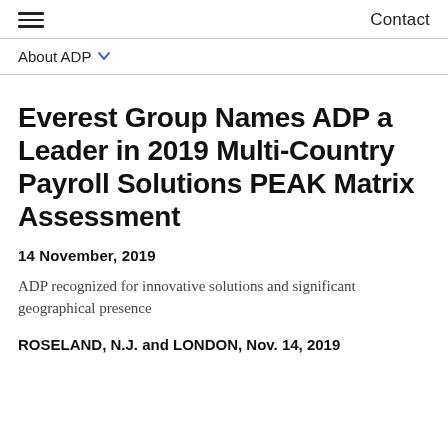Contact
About ADP
Everest Group Names ADP a Leader in 2019 Multi-Country Payroll Solutions PEAK Matrix Assessment
14 November, 2019
ADP recognized for innovative solutions and significant geographical presence
ROSELAND, N.J. and LONDON, Nov. 14, 2019